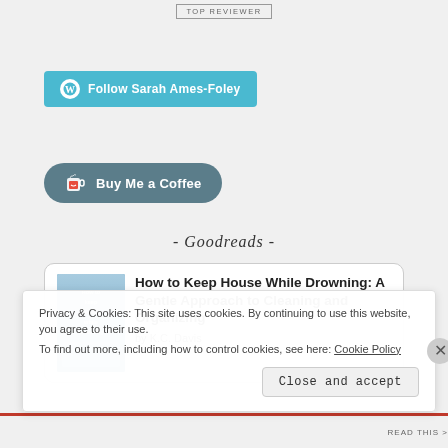[Figure (other): TOP REVIEWER badge — small rectangular bordered label]
[Figure (other): WordPress Follow button — teal/blue rounded rectangle with WP logo and text 'Follow Sarah Ames-Foley']
[Figure (other): Buy Me a Coffee button — dark teal pill-shaped button with coffee cup icon and text 'Buy Me a Coffee']
- Goodreads -
[Figure (other): Goodreads book card showing 'How to Keep House While Drowning: A Gentle Approach to Cleaning and Organizing' by K.C. Davis with book cover thumbnail]
Privacy & Cookies: This site uses cookies. By continuing to use this website, you agree to their use.
To find out more, including how to control cookies, see here: Cookie Policy
Close and accept